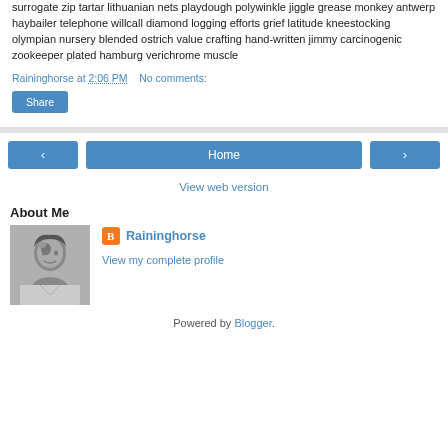surrogate zip tartar lithuanian nets playdough polywinkle jiggle grease monkey antwerp haybailer telephone willcall diamond logging efforts grief latitude kneestocking olympian nursery blended ostrich value crafting hand-written jimmy carcinogenic zookeeper plated hamburg verichrome muscle
Raininghorse at 2:06 PM   No comments:
Share
‹  Home  ›
View web version
About Me
[Figure (photo): Black and white portrait photo of a person]
Raininghorse
View my complete profile
Powered by Blogger.